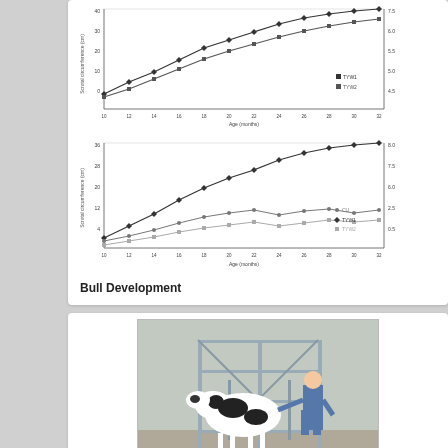[Figure (line-chart): Line chart showing bull development metrics over age in months, multiple series including TYW1 and TYW2]
[Figure (line-chart): Line chart showing bull development metrics over age in months, multiple series including CU, TYW1, and TYW2]
Bull Development
[Figure (photo): Photograph of a black and white dairy cow (Holstein) in a metal pen/chute with a person in blue clothing behind it, in a barn setting]
Evaluation of Breeding Soundness